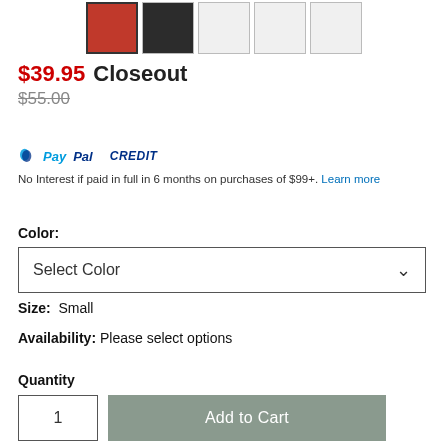[Figure (screenshot): Product thumbnail images row: 5 small square thumbnails, first selected with dark border showing red product, second showing dark-colored product, rest empty/blank]
$39.95 Closeout
$55.00
PayPal CREDIT  No Interest if paid in full in 6 months on purchases of $99+. Learn more
Color:
Select Color
Size:  Small
Availability: Please select options
Quantity
1
Add to Cart